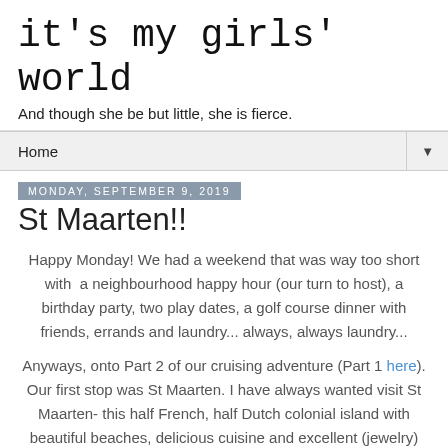it's my girls' world
And though she be but little, she is fierce.
Home ▼
Monday, September 9, 2019
St Maarten!!
Happy Monday! We had a weekend that was way too short with  a neighbourhood happy hour (our turn to host), a birthday party, two play dates, a golf course dinner with friends, errands and laundry... always, always laundry...
Anyways, onto Part 2 of our cruising adventure (Part 1 here). Our first stop was St Maarten. I have always wanted visit St Maarten- this half French, half Dutch colonial island with beautiful beaches, delicious cuisine and excellent (jewelry) shopping. With 4 very loud and opinionated kids and